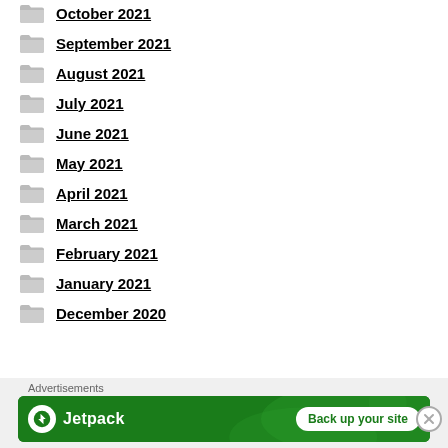October 2021
September 2021
August 2021
July 2021
June 2021
May 2021
April 2021
March 2021
February 2021
January 2021
December 2020
Advertisements
[Figure (other): Jetpack advertisement banner — Back up your site]